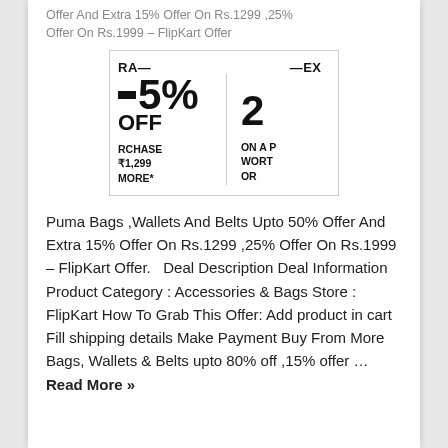Offer And Extra 15% Offer On Rs.1299 ,25% Offer On Rs.1999 – FlipKart Offer
[Figure (illustration): Promotional image showing Puma sale offers: 50% OFF on purchase of Rs.1,299 or more, and 25% offer on a purchase worth or more]
Puma Bags ,Wallets And Belts Upto 50% Offer And Extra 15% Offer On Rs.1299 ,25% Offer On Rs.1999 – FlipKart Offer.   Deal Description Deal Information Product Category : Accessories & Bags Store : FlipKart How To Grab This Offer: Add product in cart Fill shipping details Make Payment Buy From More Bags, Wallets & Belts upto 80% off ,15% offer … Read More »